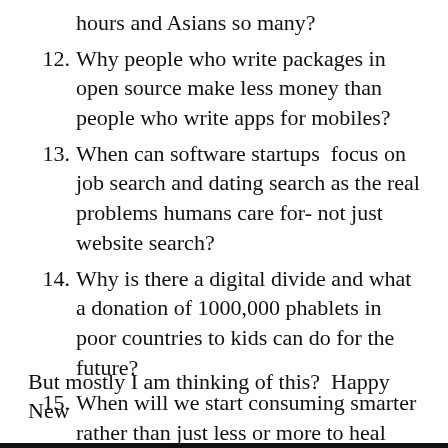hours and Asians so many?
12. Why people who write packages in open source make less money than people who write apps for mobiles?
13. When can software startups  focus on job search and dating search as the real problems humans care for- not just website search?
14. Why is there a digital divide and what a donation of 1000,000 phablets in poor countries to kids can do for the future?
15. When will we start consuming smarter rather than just less or more to heal climate change?
But mostly I am thinking of this?  Happy New